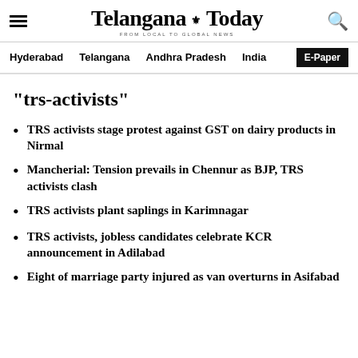Telangana Today — FROM LOCAL TO GLOBAL NEWS
Hyderabad  Telangana  Andhra Pradesh  India  E-Paper
"trs-activists"
TRS activists stage protest against GST on dairy products in Nirmal
Mancherial: Tension prevails in Chennur as BJP, TRS activists clash
TRS activists plant saplings in Karimnagar
TRS activists, jobless candidates celebrate KCR announcement in Adilabad
Eight of marriage party injured as van overturns in Asifabad